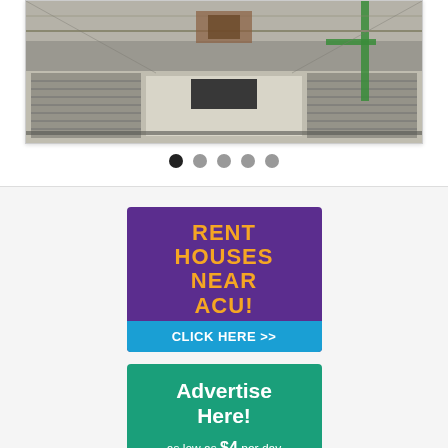[Figure (photo): Aerial interior view of a large arena or convention hall under construction or setup, showing rows of equipment/seating and a green crane structure.]
[Figure (infographic): Slideshow navigation dots: 5 circles, first filled black, rest gray.]
[Figure (infographic): Advertisement banner: purple background with gold text 'RENT HOUSES NEAR ACU!' and blue 'CLICK HERE >>' button.]
[Figure (infographic): Advertisement banner: teal background with white text 'Advertise Here! as low as $4 per day' and orange 'CLICK HERE' button.]
[Figure (infographic): Advertisement banner: KACU logo with red square containing 'CL' text.]